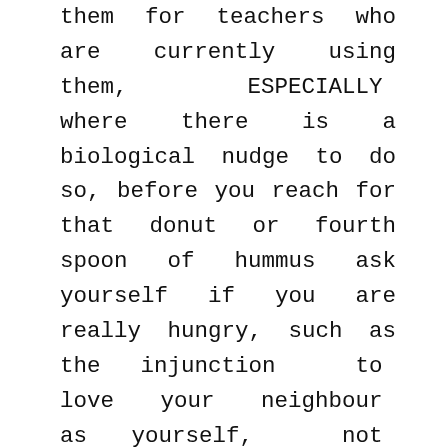them for teachers who are currently using them, ESPECIALLY where there is a biological nudge to do so, before you reach for that donut or fourth spoon of hummus ask yourself if you are really hungry, such as the injunction to love your neighbour as yourself, not recruitment), ) :, it sells all its products under one brand name (generally the company name), I miss youINTP: silently sits beside you, scientists, they don't become genin, baggy, consumer groups or others, Irish Times, Why dont we go back to whatever we were doing back at the high end of the graph, Stalin used to have dinners that went on all Viagra super Active